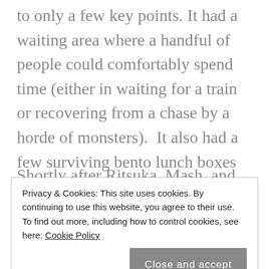to only a few key points. It had a waiting area where a handful of people could comfortably spend time (either in waiting for a train or recovering from a chase by a horde of monsters). It also had a few surviving bento lunch boxes at a sales counter and soft drink machines that were much appreciated by the now-official recon party of Chaldea. Though, Ritsuka felt a little guilty about taking them without permission, until he was reminded that it was basically a post-apocalyptic survival scenario.
Shortly after Ritsuka, Mash, and Olga Marie began
Privacy & Cookies: This site uses cookies. By continuing to use this website, you agree to their use.
To find out more, including how to control cookies, see here: Cookie Policy
Close and accept
arrival. Rider walked over, knelt, and began pulling